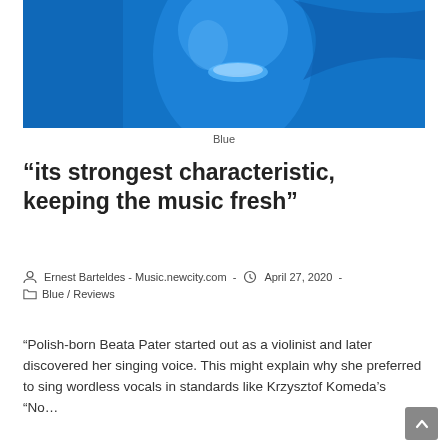[Figure (photo): Blue-tinted photo of a woman smiling, face partially visible with hair, strong blue color overlay]
Blue
“its strongest characteristic, keeping the music fresh”
Ernest Barteldes - Music.newcity.com  -  April 27, 2020  -  Blue / Reviews
“Polish-born Beata Pater started out as a violinist and later discovered her singing voice. This might explain why she preferred to sing wordless vocals in standards like Krzysztof Komeda’s “No…